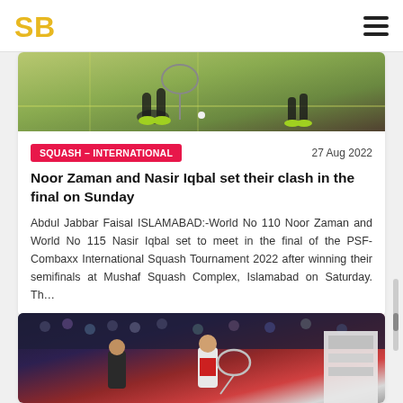SB logo and navigation menu
[Figure (photo): Squash players on court, close-up of legs and rackets during match play]
SQUASH – INTERNATIONAL
27 Aug 2022
Noor Zaman and Nasir Iqbal set their clash in the final on Sunday
Abdul Jabbar Faisal ISLAMABAD:-World No 110 Noor Zaman and World No 115 Nasir Iqbal set to meet in the final of the PSF-Combaxx International Squash Tournament 2022 after winning their semifinals at Mushaf Squash Complex, Islamabad on Saturday. Th…
[Figure (photo): Squash players competing during a tournament match, indoor court with spectators in background]